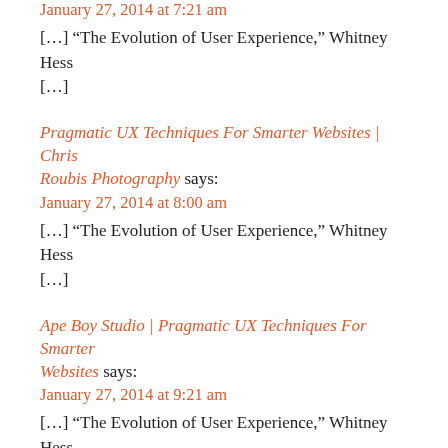January 27, 2014 at 7:21 am
[…] “The Evolution of User Experience,” Whitney Hess […]
Pragmatic UX Techniques For Smarter Websites | Chris Roubis Photography says:
January 27, 2014 at 8:00 am
[…] “The Evolution of User Experience,” Whitney Hess […]
Ape Boy Studio | Pragmatic UX Techniques For Smarter Websites says:
January 27, 2014 at 9:21 am
[…] “The Evolution of User Experience,” Whitney Hess […]